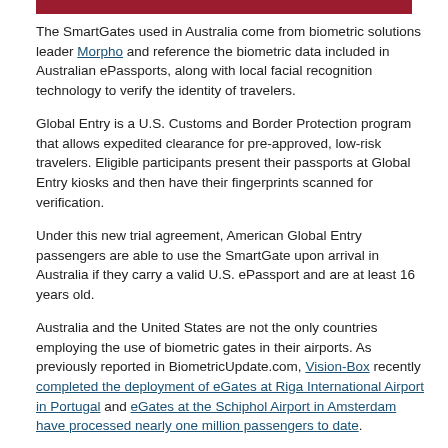[Figure (other): Dark red horizontal bar at top of page]
The SmartGates used in Australia come from biometric solutions leader Morpho and reference the biometric data included in Australian ePassports, along with local facial recognition technology to verify the identity of travelers.
Global Entry is a U.S. Customs and Border Protection program that allows expedited clearance for pre-approved, low-risk travelers. Eligible participants present their passports at Global Entry kiosks and then have their fingerprints scanned for verification.
Under this new trial agreement, American Global Entry passengers are able to use the SmartGate upon arrival in Australia if they carry a valid U.S. ePassport and are at least 16 years old.
Australia and the United States are not the only countries employing the use of biometric gates in their airports. As previously reported in BiometricUpdate.com, Vision-Box recently completed the deployment of eGates at Riga International Airport in Portugal and eGates at the Schiphol Airport in Amsterdam have processed nearly one million passengers to date.